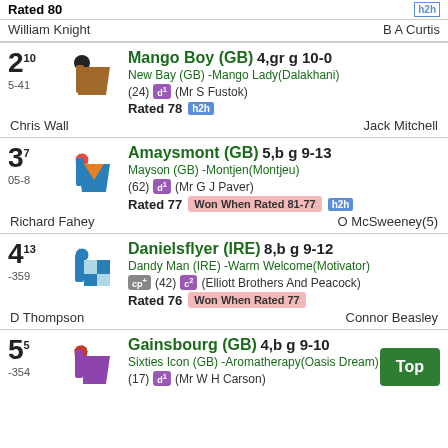Rated 80 | William Knight | B A Curtis
2^10 5-41 Mango Boy (GB) 4,gr g 10-0 | New Bay (GB) -Mango Lady(Dalakhani) | (24) d1 (Mr S Fustok) | Rated 78 h2h | Chris Wall | Jack Mitchell
3^7 05-8 Amaysmont (GB) 5,b g 9-13 | Mayson (GB) -Montjen(Montjeu) | (62) d1 (Mr G J Paver) | Rated 77 Won When Rated 81-77 h2h | Richard Fahey | O McSweeney(5)
4^13 -359 Danielsflyer (IRE) 8,b g 9-12 | Dandy Man (IRE) -Warm Welcome(Motivator) | cp+ (42) c2 (Elliott Brothers And Peacock) | Rated 76 Won When Rated 77 | D Thompson | Connor Beasley
5^5 -354 Gainsbourg (GB) 4,b g 9-10 | Sixties Icon (GB) -Aromatherapy(Oasis Dream) | (17) d1 (Mr W H Carson)